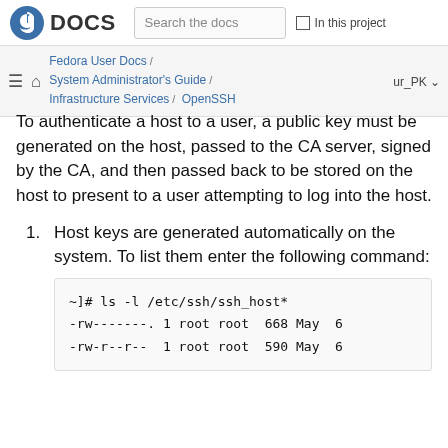DOCS | Search the docs | In this project
Fedora User Docs / System Administrator's Guide / Infrastructure Services / OpenSSH | ur_PK
To authenticate a host to a user, a public key must be generated on the host, passed to the CA server, signed by the CA, and then passed back to be stored on the host to present to a user attempting to log into the host.
1. Host keys are generated automatically on the system. To list them enter the following command:
~]# ls -l /etc/ssh/ssh_host*
-rw-------. 1 root root  668 May  6 
-rw-r--r--  1 root root  590 May  6